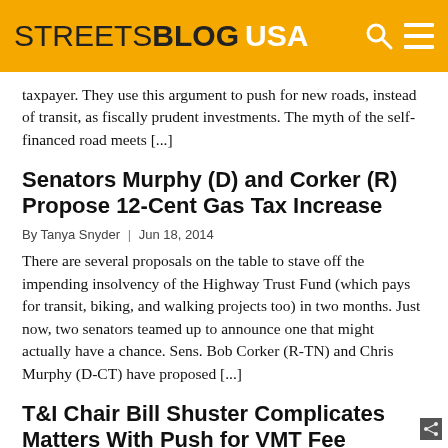STREETSBLOG USA
taxpayer. They use this argument to push for new roads, instead of transit, as fiscally prudent investments. The myth of the self-financed road meets [...]
Senators Murphy (D) and Corker (R) Propose 12-Cent Gas Tax Increase
By Tanya Snyder | Jun 18, 2014
There are several proposals on the table to stave off the impending insolvency of the Highway Trust Fund (which pays for transit, biking, and walking projects too) in two months. Just now, two senators teamed up to announce one that might actually have a chance. Sens. Bob Corker (R-TN) and Chris Murphy (D-CT) have proposed [...]
T&I Chair Bill Shuster Complicates Matters With Push for VMT Fee